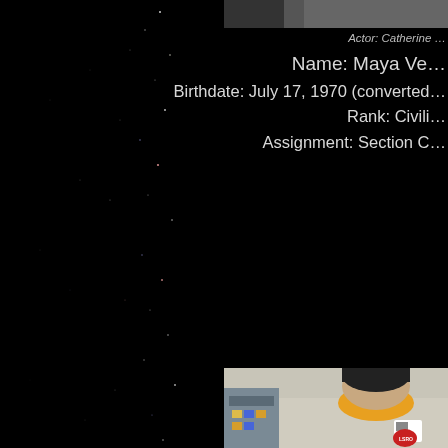[Figure (photo): Top strip photo, partially visible, dark background with a person in the upper right corner]
Actor: Catherine …
Name: Maya Ve…
Birthdate: July 17, 1970 (converted…
Rank: Civili…
Assignment: Section C…
[Figure (photo): Portrait photo of a woman with short dark hair wearing a yellow turtleneck and light uniform with LSRO badge, standing in a futuristic interior]
[Figure (photo): Starfield background — dark space with scattered colored star points on the left side]